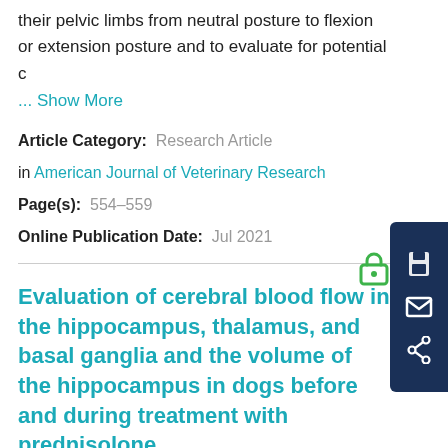their pelvic limbs from neutral posture to flexion or extension posture and to evaluate for potential c
... Show More
Article Category:  Research Article
in American Journal of Veterinary Research
Page(s):  554–559
Online Publication Date:  Jul 2021
Evaluation of cerebral blood flow in the hippocampus, thalamus, and basal ganglia and the volume of the hippocampus in dogs before and during treatment with prednisolone